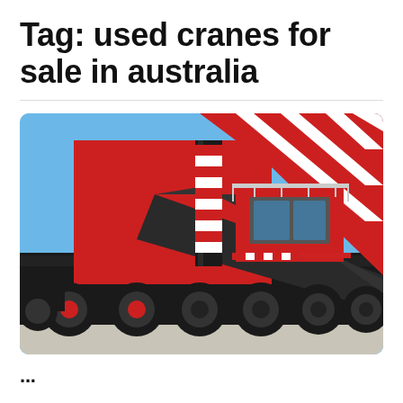Tag: used cranes for sale in australia
[Figure (photo): Large red and black mobile crane mounted on a multi-axle truck chassis, photographed from a low angle against a blue sky. The crane cabin is elevated and the red and white striped lattice boom is visible in the upper portion of the image.]
...